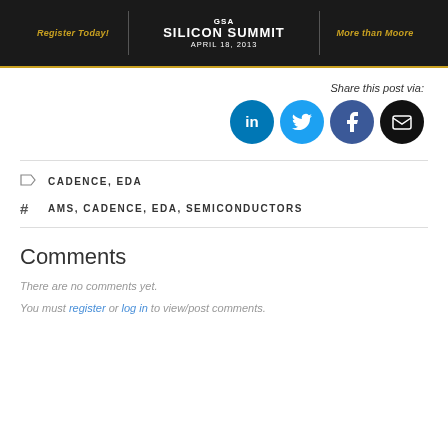[Figure (illustration): GSA Silicon Summit banner with 'Register Today!' on left, 'GSA SILICON SUMMIT APRIL 18, 2013' in center, and 'More than Moore' on right, dark background with gold/yellow text]
Share this post via:
[Figure (illustration): Social sharing icons: LinkedIn (blue circle), Twitter (light blue circle), Facebook (dark blue circle), Email (black circle)]
CADENCE, EDA
AMS, CADENCE, EDA, SEMICONDUCTORS
Comments
There are no comments yet.
You must register or log in to view/post comments.